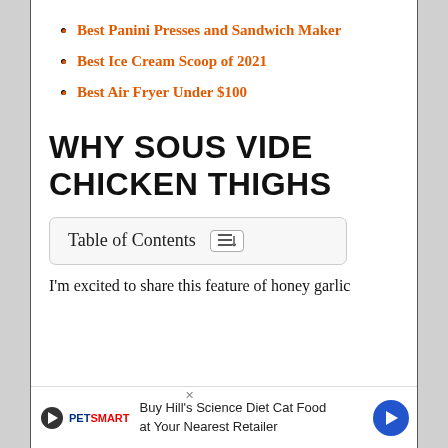Best Panini Presses and Sandwich Maker
Best Ice Cream Scoop of 2021
Best Air Fryer Under $100
WHY SOUS VIDE CHICKEN THIGHS
Table of Contents
I'm excited to share this feature of honey garlic...